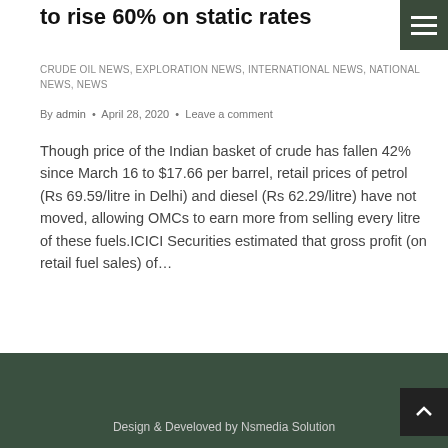to rise 60% on static rates
CRUDE OIL NEWS, EXPLORATION NEWS, INTERNATIONAL NEWS, NATIONAL NEWS, News
By admin • April 28, 2020 • Leave a comment
Though price of the Indian basket of crude has fallen 42% since March 16 to $17.66 per barrel, retail prices of petrol (Rs 69.59/litre in Delhi) and diesel (Rs 62.29/litre) have not moved, allowing OMCs to earn more from selling every litre of these fuels.ICICI Securities estimated that gross profit (on retail fuel sales) of…
Design & Develoved by Nsmedia Solution